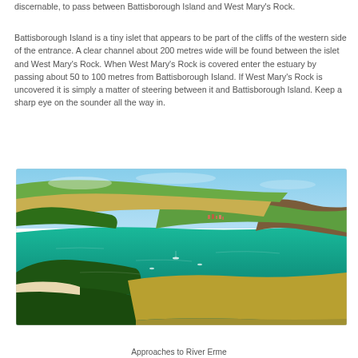discernable, to pass between Battisborough Island and West Mary's Rock.
Battisborough Island is a tiny islet that appears to be part of the cliffs of the western side of the entrance. A clear channel about 200 metres wide will be found between the islet and West Mary's Rock. When West Mary's Rock is covered enter the estuary by passing about 50 to 100 metres from Battisborough Island. If West Mary's Rock is uncovered it is simply a matter of steering between it and Battisborough Island. Keep a sharp eye on the sounder all the way in.
[Figure (photo): Aerial photograph of a coastal headland with green and golden fields, forested slopes, a turquoise bay with anchored boats, and a village on the far shore under a blue sky. Approaches to River Erme.]
Approaches to River Erme